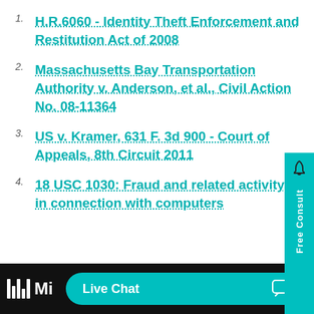H.R.6060 - Identity Theft Enforcement and Restitution Act of 2008
Massachusetts Bay Transportation Authority v. Anderson, et al., Civil Action No. 08-11364
US v. Kramer, 631 F. 3d 900 - Court of Appeals, 8th Circuit 2011
18 USC 1030: Fraud and related activity in connection with computers